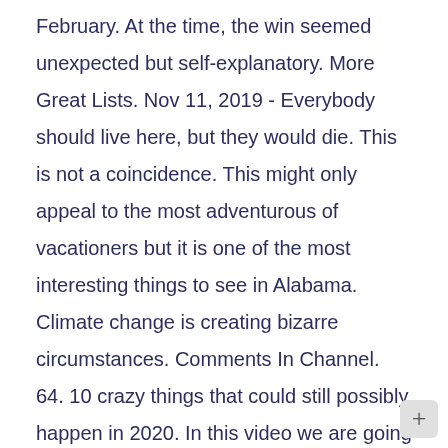February. At the time, the win seemed unexpected but self-explanatory. More Great Lists. Nov 11, 2019 - Everybody should live here, but they would die. This is not a coincidence. This might only appeal to the most adventurous of vacationers but it is one of the most interesting things to see in Alabama. Climate change is creating bizarre circumstances. Comments In Channel. 64. 10 crazy things that could still possibly happen in 2020. In this video we are going to show you those videos. Time means nothing. Nov 10, 2020 - Miles Willett (@miles.willett) on TikTok | 8.9M Likes. In today's episode we talk about some of the gross, and crazy things that have happened on an airplane. 14. Now, it's when pigs eat Doritos. Episode 006 - Bears, Jellyfish, and Hotel Rooms. By Brittany Jenke